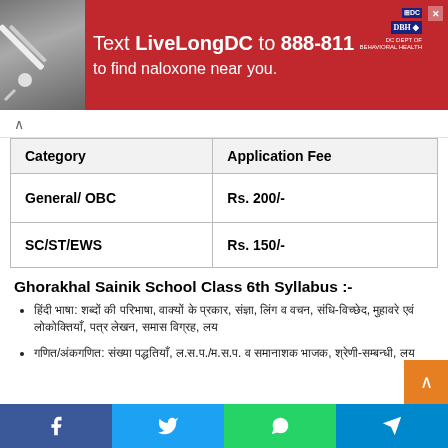[Figure (infographic): Red advertisement banner: Text LiveLongDC to 888-811 to find naloxone near you. With DC and DBH logos and syringe image.]
| Category | Application Fee |
| --- | --- |
| General/ OBC | Rs. 200/- |
| SC/ST/EWS | Rs. 150/- |
Ghorakhal Sainik School Class 6th Syllabus :-
हिंदी भाषा: शब्दों की परिभाषा, वाक्यों के प्रकार, संज्ञा, लिंग व वचन, संधि-विच्छेद, मुहावरे एवं लोकोक्तियाँ, पत्र लेखन, समास विग्रह, लय
गणित/अंकगणित: संख्या पद्धतियाँ, ल.स.प./म.स.प. व समानाशक भाजक, श्रेणी-सम्बन्धी, लय